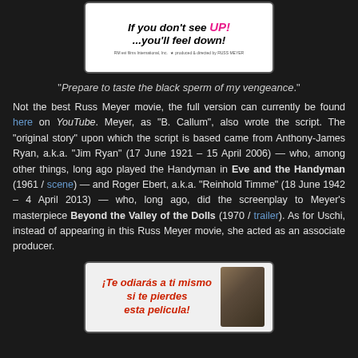[Figure (illustration): Movie poster showing text 'If you don't see UP! ...you'll feel down!' in bold black font with 'UP!' in pink/magenta, small production credits at bottom]
"Prepare to taste the black sperm of my vengeance."
Not the best Russ Meyer movie, the full version can currently be found here on YouTube. Meyer, as "B. Callum", also wrote the script. The "original story" upon which the script is based came from Anthony-James Ryan, a.k.a. "Jim Ryan" (17 June 1921 – 15 April 2006) — who, among other things, long ago played the Handyman in Eve and the Handyman (1961 / scene) — and Roger Ebert, a.k.a. "Reinhold Timme" (18 June 1942 – 4 April 2013) — who, long ago, did the screenplay to Meyer's masterpiece Beyond the Valley of the Dolls (1970 / trailer). As for Uschi, instead of appearing in this Russ Meyer movie, she acted as an associate producer.
[Figure (illustration): Movie poster showing Spanish text '¡Te odiarás a ti mismo si te pierdes esta pelicula!' in red/blue italics alongside a woman with dark hair]